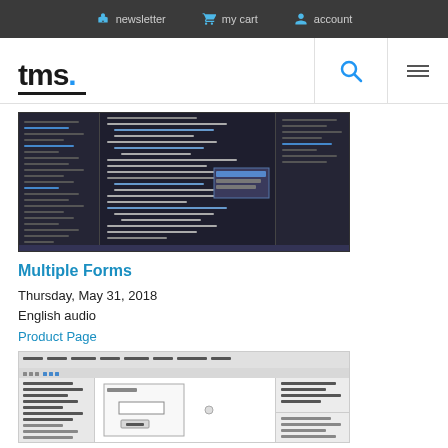newsletter   my cart   account
[Figure (logo): tms. logo with blue dot and underline]
[Figure (screenshot): Dark-themed IDE/code editor screenshot showing Delphi or Pascal code]
Multiple Forms
Thursday, May 31, 2018
English audio
Product Page
[Figure (screenshot): Light-themed IDE/form designer screenshot showing a form with components]